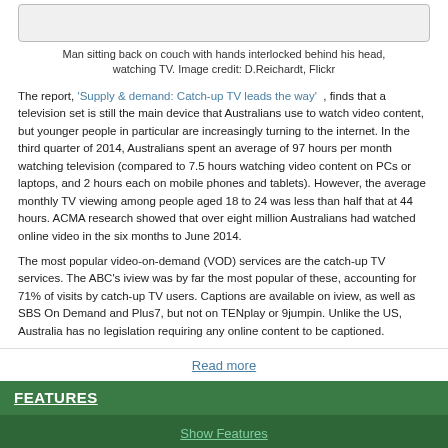[Figure (photo): Image placeholder box showing a man sitting back on a couch watching TV]
Man sitting back on couch with hands interlocked behind his head, watching TV. Image credit: D.Reichardt, Flickr
The report, 'Supply & demand: Catch-up TV leads the way', finds that a television set is still the main device that Australians use to watch video content, but younger people in particular are increasingly turning to the internet. In the third quarter of 2014, Australians spent an average of 97 hours per month watching television (compared to 7.5 hours watching video content on PCs or laptops, and 2 hours each on mobile phones and tablets). However, the average monthly TV viewing among people aged 18 to 24 was less than half that at 44 hours. ACMA research showed that over eight million Australians had watched online video in the six months to June 2014.
The most popular video-on-demand (VOD) services are the catch-up TV services. The ABC's iview was by far the most popular of these, accounting for 71% of visits by catch-up TV users. Captions are available on iview, as well as SBS On Demand and Plus7, but not on TENplay or 9jumpin. Unlike the US, Australia has no legislation requiring any online content to be captioned.
Read more
FEATURES
Show Features